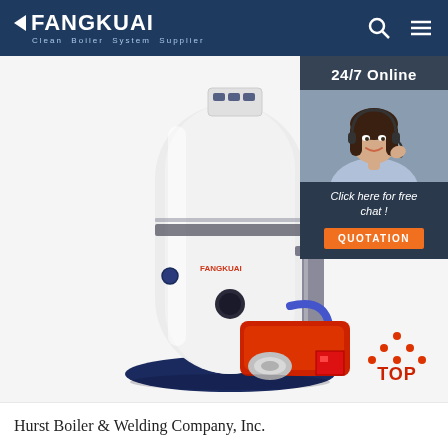FANGKUAI - Clean Boiler System Supplier
[Figure (screenshot): Website screenshot showing a vertical gas/oil-fired boiler (white cylindrical unit with red burner at base, dark blue base, control panel on top, blue pipe on side) on a white background. Overlaid on the right side is a customer service chat widget with '24/7 Online' text, a photo of a female customer service agent wearing a headset, 'Click here for free chat!' text, and an orange QUOTATION button. A red 'TOP' navigation button with orange dots is at the lower right. The Fangkuai logo appears on the boiler.]
Hurst Boiler & Welding Company, Inc.